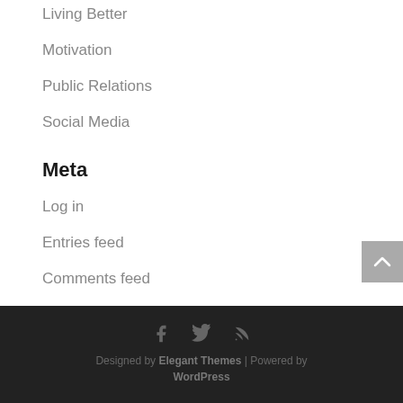Living Better
Motivation
Public Relations
Social Media
Meta
Log in
Entries feed
Comments feed
WordPress.org
Designed by Elegant Themes | Powered by WordPress